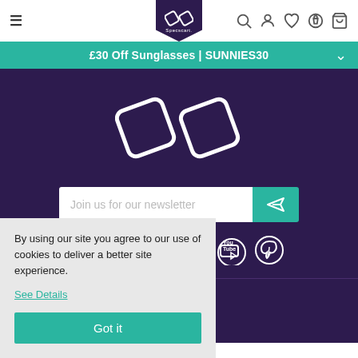[Figure (screenshot): Specscart website navigation bar with hamburger menu, logo, search, account, wishlist, home, and cart icons]
£30 Off Sunglasses | SUNNIES30
[Figure (logo): Specscart logo — two overlapping rounded diamond shapes in white outline on dark purple background]
Join us for our newsletter
[Figure (infographic): Social media icons: Facebook, Twitter, Instagram, LinkedIn, YouTube, Pinterest]
By using our site you agree to our use of cookies to deliver a better site experience.
See Details
Got it